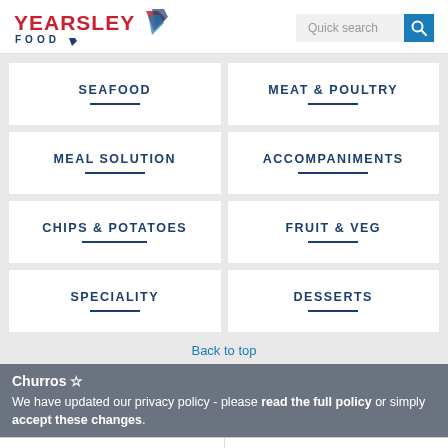[Figure (logo): Yearsley Food logo with red text and diamond shapes]
Quick search
SEAFOOD
MEAT & POULTRY
MEAL SOLUTION
ACCOMPANIMENTS
CHIPS & POTATOES
FRUIT & VEG
SPECIALITY
DESSERTS
Back to top
Churros
We have updated our privacy policy - please read the full policy or simply accept these changes.
Mini Caramel Churros
Mini Cinnamon Sugar